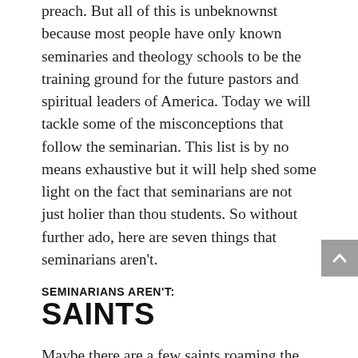preach. But all of this is unbeknownst because most people have only known seminaries and theology schools to be the training ground for the future pastors and spiritual leaders of America. Today we will tackle some of the misconceptions that follow the seminarian. This list is by no means exhaustive but it will help shed some light on the fact that seminarians are not just holier than thou students. So without further ado, here are seven things that seminarians aren't.
SEMINARIANS AREN'T:
SAINTS
Maybe there are a few saints roaming the halls of your local seminary—doubtful considering the criteria for sainthood–but for the most part seminaries are full of everyday people who struggle with...